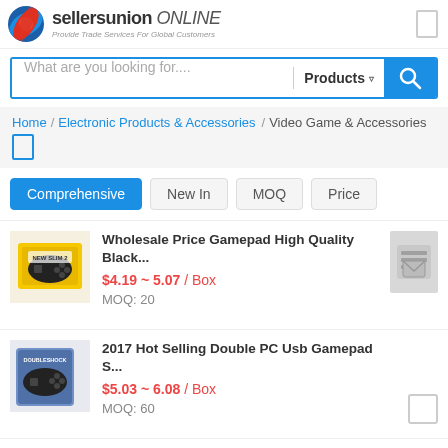[Figure (logo): sellersunion ONLINE logo with globe icon and tagline 'Provide Trade Services For Global Customers']
What are you looking for....
Products
Home / Electronic Products & Accessories / Video Game & Accessories
Comprehensive
New In
MOQ
Price
Wholesale Price Gamepad High Quality Black...
$4.19 ~ 5.07 / Box
MOQ: 20
2017 Hot Selling Double PC Usb Gamepad S...
$5.03 ~ 6.08 / Box
MOQ: 60